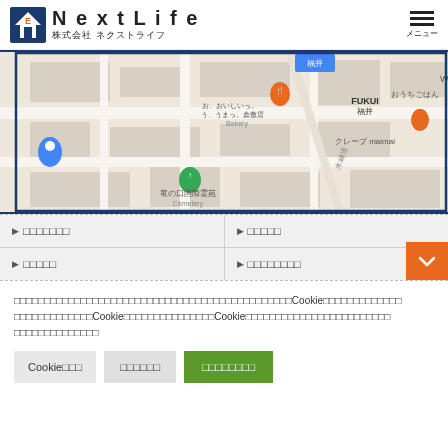[Figure (logo): NextLife company logo with house icon and Japanese text 株式会社 ネクストライフ]
[Figure (map): Google Maps screenshot showing Fukui area with Japanese landmarks including 竜の口国際霊苑 Cemetery, クレープ maimai, FUKUI 福井, and bakery markers]
▶ □□□□□□□
▶ □□□□□
▶ □□□□□
▶ □□□□□□□□
□□□□□□□□□□□□□□□□□□□□□□□□□□□□□□□□□□□□□Cookie□□□□□□□□□□□□□ □□□□□□□□□□□□□Cookie□□□□□□□□□□□□□□□Cookie□□□□□□□□□□□□□□□□□□□□□□□□
Cookie□□□   □□□□□□   □□□□□□□□